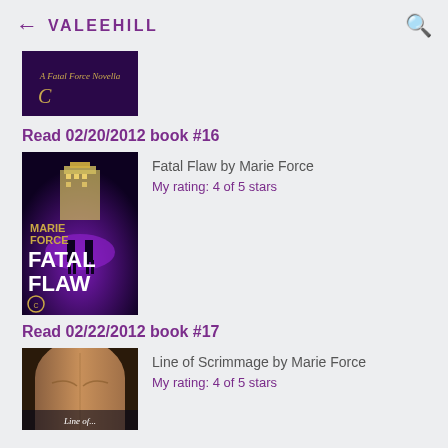← VALEEHILL 🔍
[Figure (photo): Small book cover thumbnail with dark purple background and handwritten-style text]
Read 02/20/2012 book #16
[Figure (photo): Book cover of Fatal Flaw by Marie Force — dark purple background with silhouettes, white text reading MARIE FORCE FATAL FLAW]
Fatal Flaw by Marie Force
My rating: 4 of 5 stars
Read 02/22/2012 book #17
[Figure (photo): Book cover of Line of Scrimmage by Marie Force — muscular torso on cover with partial title text visible]
Line of Scrimmage by Marie Force
My rating: 4 of 5 stars